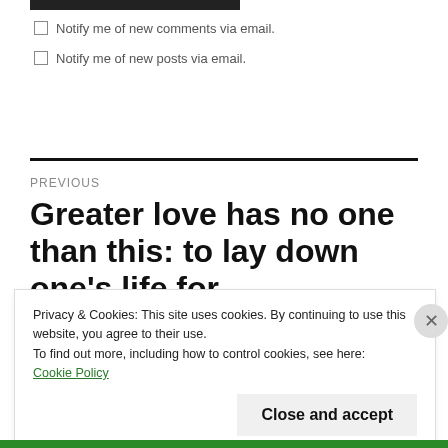Notify me of new comments via email.
Notify me of new posts via email.
PREVIOUS
Greater love has no one than this: to lay down one's life for
Privacy & Cookies: This site uses cookies. By continuing to use this website, you agree to their use.
To find out more, including how to control cookies, see here:
Cookie Policy
Close and accept